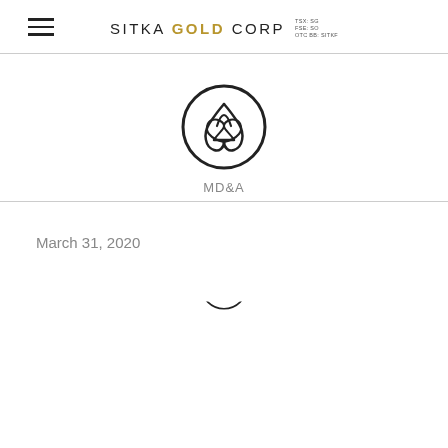SITKA GOLD CORP
[Figure (logo): Adobe Acrobat PDF icon — circle with stylized document/arrow logo]
MD&A
March 31, 2020
[Figure (logo): Adobe Acrobat PDF icon — circle with stylized document/arrow logo (partial, bottom of page)]